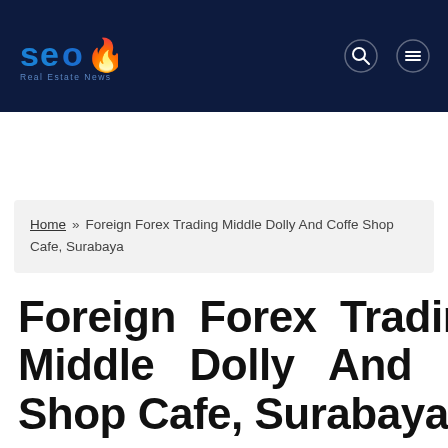SEO Real Estate News - navigation header with logo, search icon, and menu icon
Home » Foreign Forex Trading Middle Dolly And Coffe Shop Cafe, Surabaya
Foreign Forex Trading Middle Dolly And Coffe Shop Cafe, Surabaya